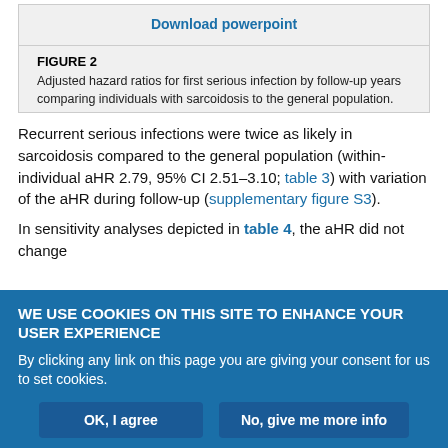[Figure (other): Download powerpoint button/link inside a grey box]
FIGURE 2
Adjusted hazard ratios for first serious infection by follow-up years comparing individuals with sarcoidosis to the general population.
Recurrent serious infections were twice as likely in sarcoidosis compared to the general population (within-individual aHR 2.79, 95% CI 2.51–3.10; table 3) with variation of the aHR during follow-up (supplementary figure S3).
In sensitivity analyses depicted in table 4, the aHR did not change
WE USE COOKIES ON THIS SITE TO ENHANCE YOUR USER EXPERIENCE
By clicking any link on this page you are giving your consent for us to set cookies.